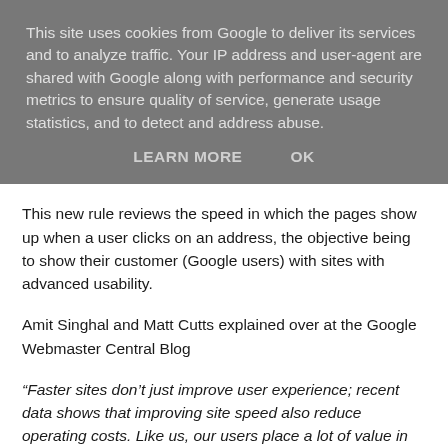This site uses cookies from Google to deliver its services and to analyze traffic. Your IP address and user-agent are shared with Google along with performance and security metrics to ensure quality of service, generate usage statistics, and to detect and address abuse.
LEARN MORE    OK
This new rule reviews the speed in which the pages show up when a user clicks on an address, the objective being to show their customer (Google users) with sites with advanced usability.
Amit Singhal and Matt Cutts explained over at the Google Webmaster Central Blog
“Faster sites don’t just improve user experience; recent data shows that improving site speed also reduce operating costs. Like us, our users place a lot of value in speed — that’s why we’ve decided to take site speed into account in our search rankings. We use a variety of sources to determine the